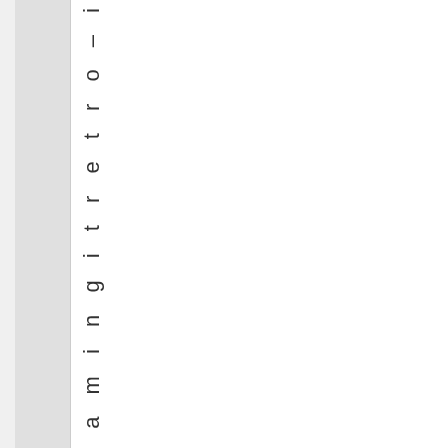r o . i n i n a m i n g i t r e t r o – i